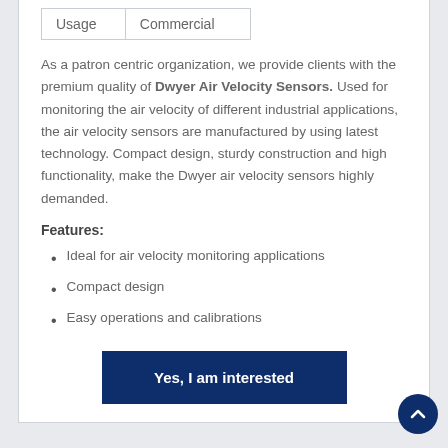| Usage | Commercial |
| --- | --- |
As a patron centric organization, we provide clients with the premium quality of Dwyer Air Velocity Sensors. Used for monitoring the air velocity of different industrial applications, the air velocity sensors are manufactured by using latest technology. Compact design, sturdy construction and high functionality, make the Dwyer air velocity sensors highly demanded.
Features:
Ideal for air velocity monitoring applications
Compact design
Easy operations and calibrations
Yes, I am interested